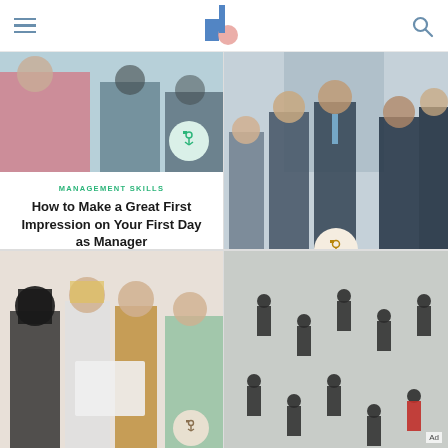navigation header with hamburger menu, logo, and search icon
[Figure (photo): People sitting in a meeting or workshop, woman in red jacket visible]
MANAGEMENT SKILLS
How to Make a Great First Impression on Your First Day as Manager
[Figure (photo): Business professionals in suits standing and talking in a group]
SKILLS
Top 15 Tips for New Managers
[Figure (photo): Group of women looking at a document together in an office]
[Figure (photo): Aerial view of business people standing in a circle, one person in red visible. Ad label shown.]